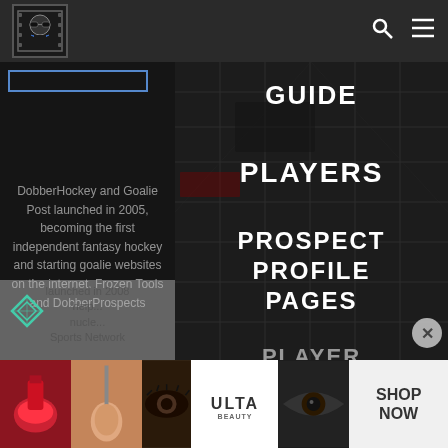[Figure (screenshot): Website screenshot of DobberHockey/fantasy hockey site showing navigation header with logo, search icon, hamburger menu, and expanded navigation menu with items: GUIDE, PLAYERS, PROSPECT PROFILE PAGES, PLAYER PAGES. Left side shows descriptive text about DobberHockey. Bottom shows ULTA beauty advertisement banner.]
DobberHockey navigation bar with logo and icons
DobberHockey and Goalie Post launched in 2005, becoming the first independent fantasy hockey and starting goalie websites on the internet. Frozen Tools and DobberProspects launched in 2008 help... nucle... Sports Network
GUIDE
PLAYERS
PROSPECT PROFILE PAGES
PLAYER PAGES